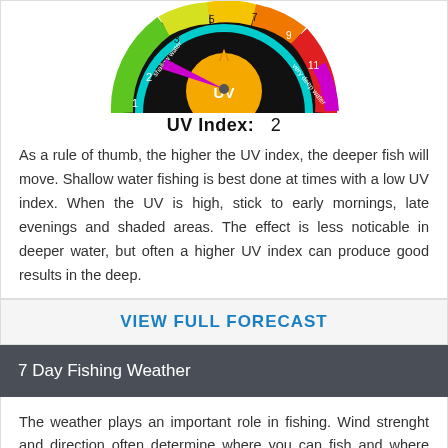[Figure (infographic): UV index dial/gauge showing a semicircular color wheel with UV index values, a sun icon in the center, and an indicator pointing to level 2 (shallow water, green zone)]
UV Index:  2
As a rule of thumb, the higher the UV index, the deeper fish will move. Shallow water fishing is best done at times with a low UV index. When the UV is high, stick to early mornings, late evenings and shaded areas. The effect is less noticable in deeper water, but often a higher UV index can produce good results in the deep.
VIEW FULL FORECAST
7 Day Fishing Weather
The weather plays an important role in fishing. Wind strenght and direction often determine where you can fish and where fish might be holding. Although high pressure is usually good